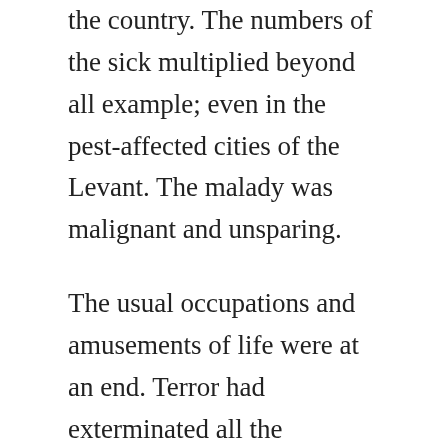the country. The numbers of the sick multiplied beyond all example; even in the pest-affected cities of the Levant. The malady was malignant and unsparing.
The usual occupations and amusements of life were at an end. Terror had exterminated all the sentiments of nature. Wives were deserted by husbands, and children by parents. Some had shut themselves in their houses, and debarred themselves from all communication with the rest of mankind. The consternation of others had destroyed their understanding, and their misguided steps hurried them into the midst of the danger which they had previously laboured to shun. Men were seized by this disease in the streets; passengers fled from them; entrance into their own